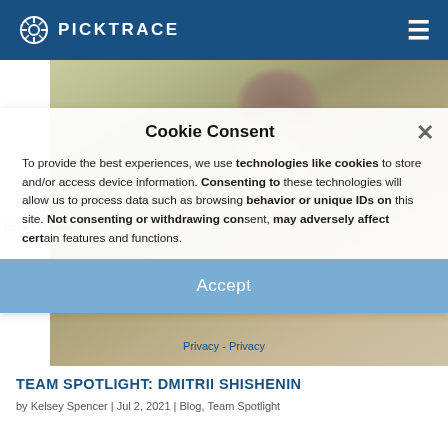PICKTRACE
[Figure (photo): Man with glasses smiling, background photo for team spotlight page. Cookie consent modal overlay visible.]
Cookie Consent
To provide the best experiences, we use technologies like cookies to store and/or access device information. Consenting to these technologies will allow us to process data such as browsing behavior or unique IDs on this site. Not consenting or withdrawing consent, may adversely affect certain features and functions.
Accept
TEAM SPOTLIGHT: DMITRII SHISHENIN
by Kelsey Spencer | Jul 2, 2021 | Blog, Team Spotlight